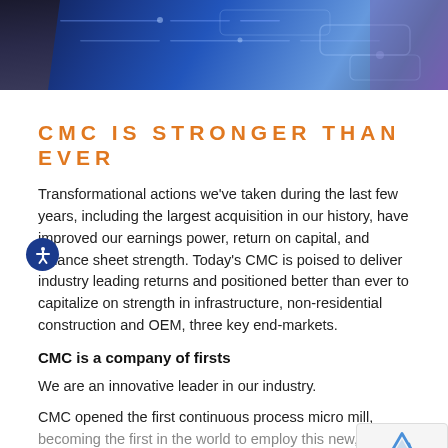[Figure (photo): Banner photo with blue technology/digital background showing a person in dark clothing, with glowing blue circuit-like patterns]
CMC IS STRONGER THAN EVER
Transformational actions we've taken during the last few years, including the largest acquisition in our history, have improved our earnings power, return on capital, and balance sheet strength. Today's CMC is poised to deliver industry leading returns and positioned better than ever to capitalize on strength in infrastructure, non-residential construction and OEM, three key end-markets.
CMC is a company of firsts
We are an innovative leader in our industry.
CMC opened the first continuous process micro mill, becoming the first in the world to employ this new, lower cost